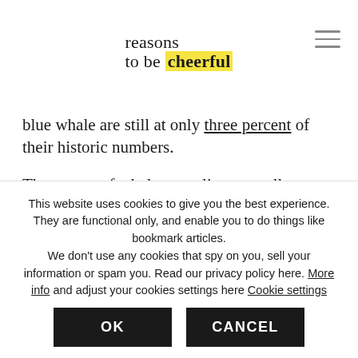reasons to be cheerful
blue whale are still at only three percent of their historic numbers.
The causes of whale mortality are well known, but addressing them requires changes that will cost countries and companies money. For instance, in spite of an international whaling moratorium signed in 1987, Japan, Norway and Iceland still kill over
This website uses cookies to give you the best experience. They are functional only, and enable you to do things like bookmark articles. We don't use any cookies that spy on you, sell your information or spam you. Read our privacy policy here. More info and adjust your cookies settings here Cookie settings
OK
CANCEL